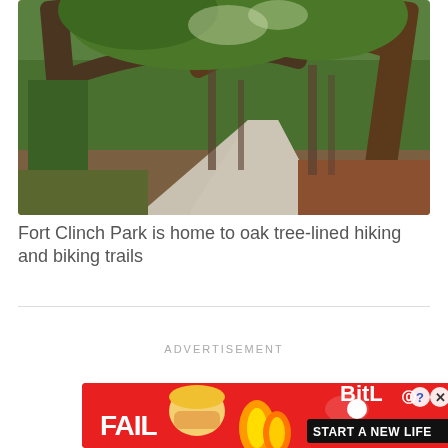[Figure (photo): A winding road through a forest of large, sprawling live oak trees draped with moss and ivy, green foliage surrounds the path at Fort Clinch Park]
Fort Clinch Park is home to oak tree-lined hiking and biking trails
ADVERTISEMENT
[Figure (photo): BitLife advertisement banner with red background, cartoon blonde woman facepalming, fire graphics, text reading FAIL and START A NEW LIFE with BitLife branding and help/close icons]